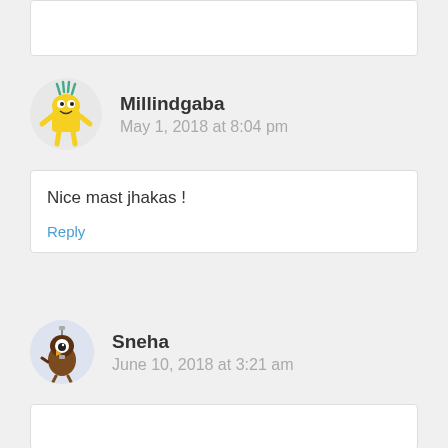[truncated top comment box]
Millindgaba
May 1, 2018 at 8:04 pm
Nice mast jhakas !
Reply
Sneha
June 10, 2018 at 3:21 am